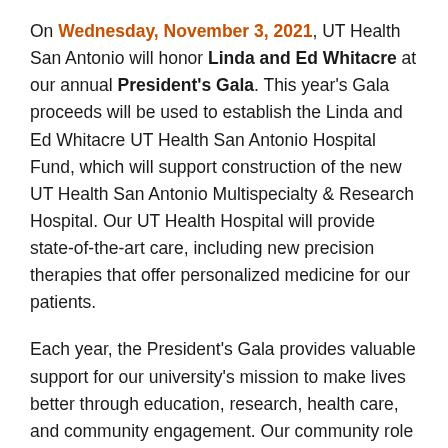On Wednesday, November 3, 2021, UT Health San Antonio will honor Linda and Ed Whitacre at our annual President's Gala. This year's Gala proceeds will be used to establish the Linda and Ed Whitacre UT Health San Antonio Hospital Fund, which will support construction of the new UT Health San Antonio Multispecialty & Research Hospital. Our UT Health Hospital will provide state-of-the-art care, including new precision therapies that offer personalized medicine for our patients.
Each year, the President's Gala provides valuable support for our university's mission to make lives better through education, research, health care, and community engagement. Our community role is to educate a diverse workforce of health care providers and scientists; engage in research to improve health; provide state-of-the-art patient care; enhance community health awareness and practices; address health disparities; and serve as the health safety net for San